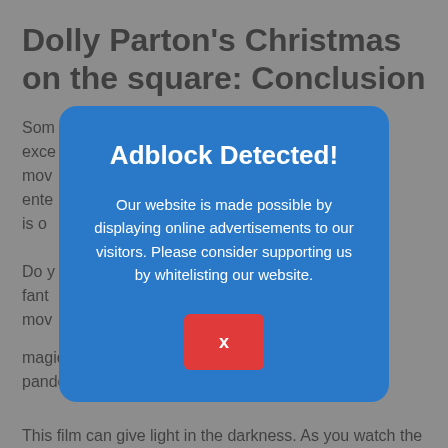Dolly Parton's Christmas on the square: Conclusion
Som... exce... his mov... ente... hat is o...
Do y... cal fant... mov... magic in life, this one would be worthwhile in this pandemic.
This film can give light in the darkness. As you watch the film, you will definitely feel Christmas surrounding you. The
[Figure (screenshot): Adblock Detected modal popup overlay on a blue background with red X close button]
Adblock Detected!
Our website is made possible by displaying online advertisements to our visitors. Please consider supporting us by whitelisting our website.